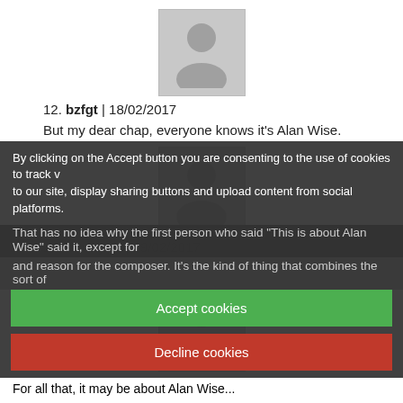[Figure (illustration): Gray placeholder avatar image (silhouette of a person)]
12. bzfgt | 18/02/2017
But my dear chap, everyone knows it's Alan Wise.
[Figure (illustration): Gray placeholder avatar image (silhouette of a person)]
13. dannyno | 19/02/2017
pfffffft.
[Figure (illustration): Gray placeholder avatar image (silhouette of a person)]
14. bzfgt | 25/02/2017
That has no idea why the first person who said "This is about Alan Wise" said it, except for a good reason for the composer. It's the kind of thing that combines the sort of...
For all that, it may be about Alan Wise...
By clicking on the Accept button you are consenting to the use of cookies to track visitors to our site, display sharing buttons and upload content from social platforms.